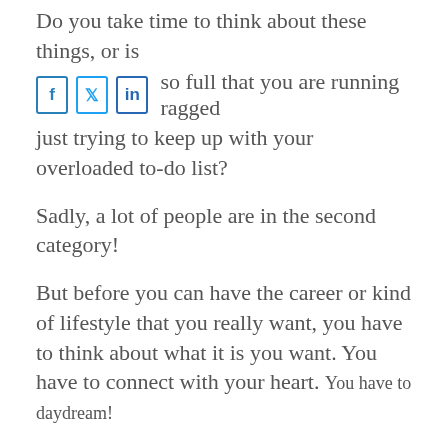Do you take time to think about these things, or is
[Figure (other): Social media share buttons: Facebook (f), Twitter (bird), LinkedIn (in)]
so full that you are running ragged just trying to keep up with your overloaded to-do list?
Sadly, a lot of people are in the second category!
But before you can have the career or kind of lifestyle that you really want, you have to think about what it is you want. You have to connect with your heart. You have to daydream!
This is explained in more detail in the Careers by Design blog entitled, How To Get What You Want Faster!
Getting what you want has two main steps.